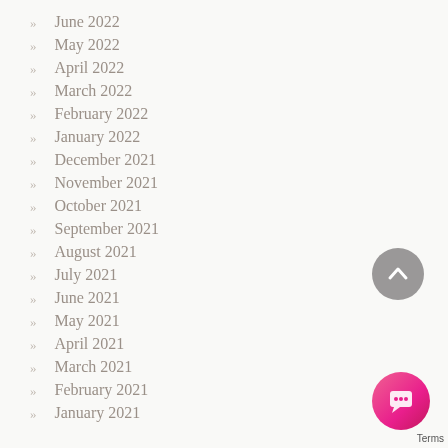June 2022
May 2022
April 2022
March 2022
February 2022
January 2022
December 2021
November 2021
October 2021
September 2021
August 2021
July 2021
June 2021
May 2021
April 2021
March 2021
February 2021
January 2021
[Figure (illustration): Gray circular scroll-to-top button with upward chevron arrow]
[Figure (illustration): Pink/magenta circular chat button with chat bubble icon]
Terms